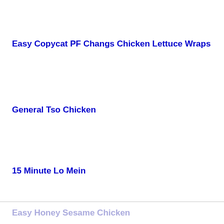Easy Copycat PF Changs Chicken Lettuce Wraps
General Tso Chicken
15 Minute Lo Mein
Easy Honey Sesame Chicken